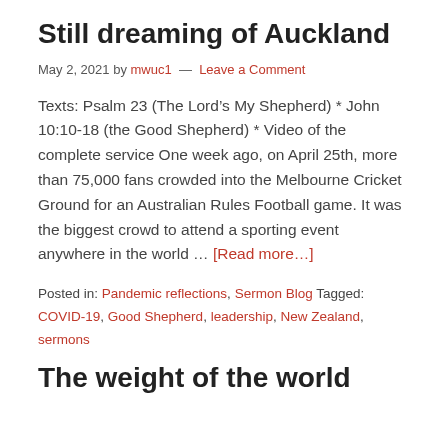Still dreaming of Auckland
May 2, 2021 by mwuc1 — Leave a Comment
Texts: Psalm 23 (The Lord's My Shepherd) * John 10:10-18 (the Good Shepherd) * Video of the complete service One week ago, on April 25th, more than 75,000 fans crowded into the Melbourne Cricket Ground for an Australian Rules Football game. It was the biggest crowd to attend a sporting event anywhere in the world … [Read more...]
Posted in: Pandemic reflections, Sermon Blog Tagged: COVID-19, Good Shepherd, leadership, New Zealand, sermons
The weight of the world